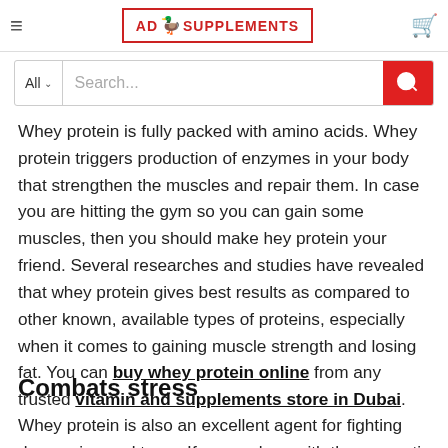AD SUPPLEMENTS (logo with search bar)
Whey protein is fully packed with amino acids. Whey protein triggers production of enzymes in your body that strengthen the muscles and repair them. In case you are hitting the gym so you can gain some muscles, then you should make hey protein your friend. Several researches and studies have revealed that whey protein gives best results as compared to other known, available types of proteins, especially when it comes to gaining muscle strength and losing fat. You can buy whey protein online from any trusted vitamin and supplements store in Dubai.
Combats stress
Whey protein is also an excellent agent for fighting depression and tress. If you replace with the energetic whey